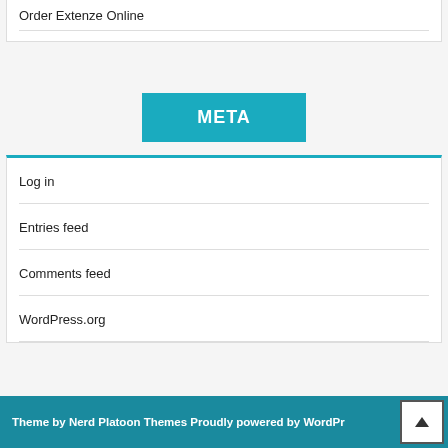Order Extenze Online
META
Log in
Entries feed
Comments feed
WordPress.org
Theme by Nerd Platoon Themes Proudly powered by WordPress